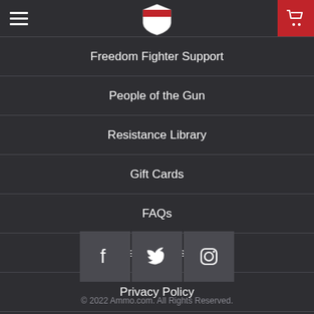Navigation header with hamburger menu, shield logo, and cart button
Freedom Fighter Support
People of the Gun
Resistance Library
Gift Cards
FAQs
Terms of Use
Privacy Policy
Contact Us
Site Map
[Figure (illustration): Social media icons: Facebook, Twitter, Instagram in dark square buttons]
© 2022 Ammo.com. All Rights Reserved.